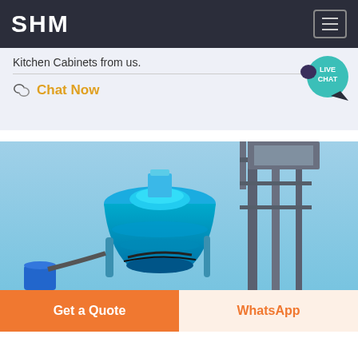SHM
Kitchen Cabinets from us.
Chat Now
[Figure (photo): Industrial blue cone crusher or mill machine on a blue sky background with steel support structure]
Get a Quote
WhatsApp